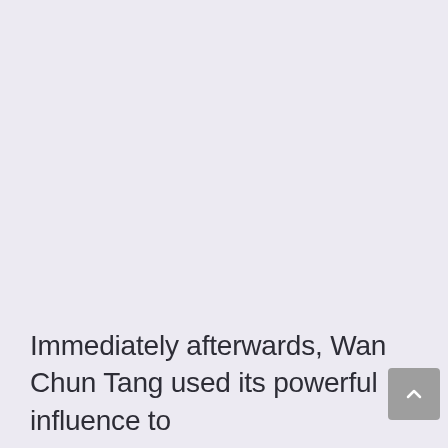Immediately afterwards, Wan Chun Tang used its powerful influence to